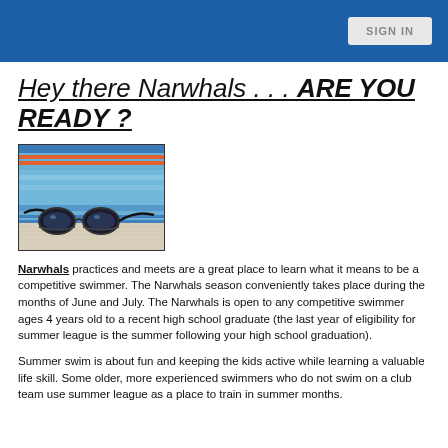SIGN IN
Hey there Narwhals . . . ARE YOU READY ?
[Figure (photo): Swimming goggles resting on a pool deck with a blurred swim lane background]
Narwhals practices and meets are a great place to learn what it means to be a competitive swimmer. The Narwhals season conveniently takes place during the months of June and July. The Narwhals is open to any competitive swimmer ages 4 years old to a recent high school graduate (the last year of eligibility for summer league is the summer following your high school graduation).
Summer swim is about fun and keeping the kids active while learning a valuable life skill. Some older, more experienced swimmers who do not swim on a club team use summer league as a place to train in summer months.